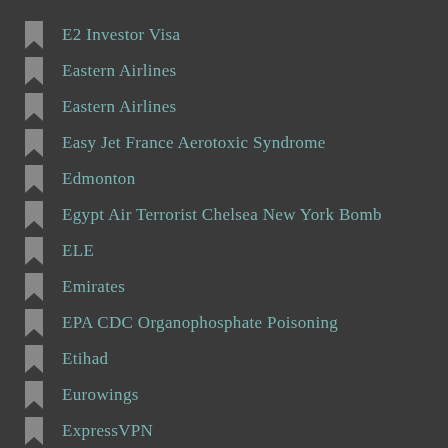E2 Investor Visa
Eastern Airlines
Eastern Airlines
Easy Jet France Aerotoxic Syndrome
Edmonton
Egypt Air Terrorist Chelsea New York Bomb
ELE
Emirates
EPA CDC Organophosphate Poisoning
Etihad
Eurowings
ExpressVPN